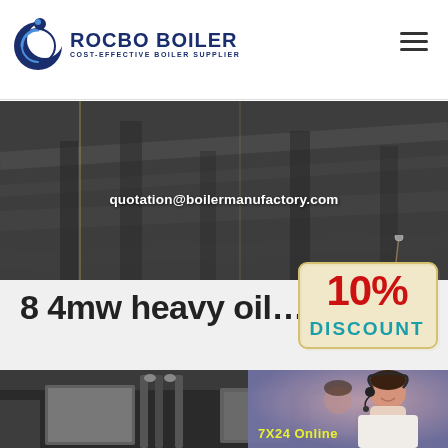[Figure (logo): Rocbo Boiler logo with crescent/C icon and text 'ROCBO BOILER / COST-EFFECTIVE BOILER SUPPLIER']
[Figure (other): Hamburger menu icon (three horizontal lines) in top right corner]
[Figure (photo): Dark industrial hero banner background with diagonal graphic lines suggesting a boiler facility interior]
quotation@boilermanufactory.com
[Figure (infographic): 10% DISCOUNT badge — cream-colored hanging sign with '10%' in large red text and 'DISCOUNT' in teal/blue text below]
8 4mw heavy oil…
[Figure (photo): Industrial boiler equipment photo showing metal pipes and rectangular units in a factory setting]
[Figure (photo): Customer service representative (woman with headset) partially visible at bottom right, with '7X24 Online' text overlay]